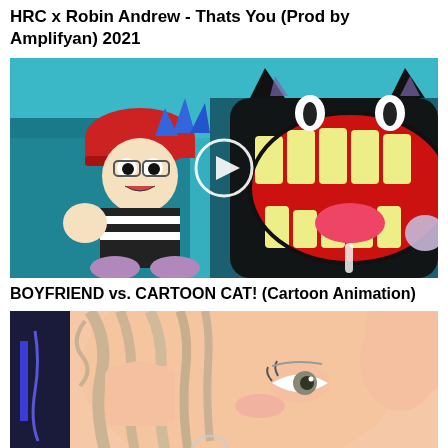HRC x Robin Andrew - Thats You (Prod by Amplifyan) 2021
[Figure (screenshot): Cartoon animation thumbnail showing Boyfriend character from Friday Night Funkin facing Cartoon Cat with large grinning teeth, with a play button overlay in the center]
BOYFRIEND vs. CARTOON CAT! (Cartoon Animation)
[Figure (illustration): Anime-style illustration of a light-haired character looking sideways with hands near face, partially cut off at bottom]